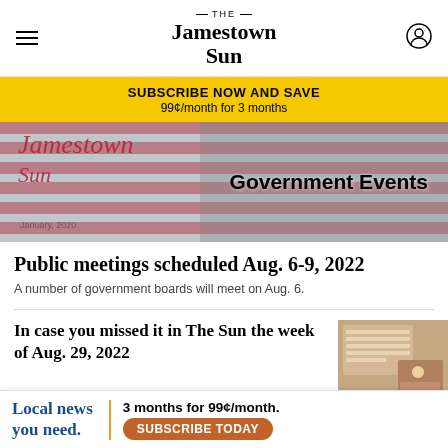The Jamestown Sun
SUBSCRIBE NOW AND SAVE
99¢/month for 3 months
[Figure (photo): Jamestown Sun newspaper masthead on American flag background with 'Government Events' text overlay]
Public meetings scheduled Aug. 6-9, 2022
A number of government boards will meet on Aug. 6.
In case you missed it in The Sun the week of Aug. 29, 2022
[Figure (photo): Person speaking at a podium with a presentation screen visible]
Local news you need. 3 months for 99¢/month. SUBSCRIBE TODAY